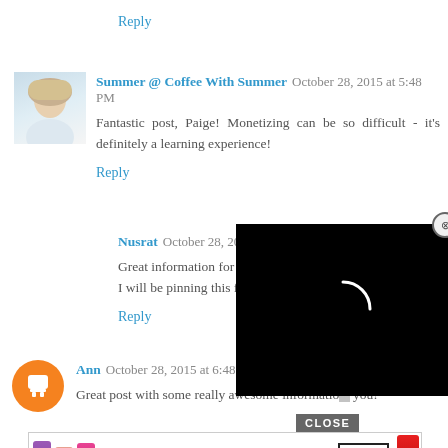Reply
Summer @ Coffee With Summer  October 28, 2015 at 5:48 PM
Fantastic post, Paige! Monetizing can be so difficult - it's definitely a learning experience!
Reply
Nusrat  October 28, 2015 at 6:...
Great information for new blo... I will be pinning this for later d...
Reply
[Figure (other): Black video loading overlay with spinning circle indicator and close button (X)]
Ann  October 28, 2015 at 6:48 PM
Great post with some really awesome informatio... th... you!
[Figure (other): MAC Cosmetics advertisement banner showing lipsticks and SHOP NOW button with CLOSE button overlay]